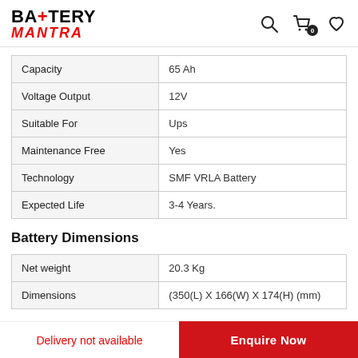Battery Mantra
|  |  |
| --- | --- |
| Capacity | 65 Ah |
| Voltage Output | 12V |
| Suitable For | Ups |
| Maintenance Free | Yes |
| Technology | SMF VRLA Battery |
| Expected Life | 3-4 Years. |
Battery Dimensions
|  |  |
| --- | --- |
| Net weight | 20.3 Kg |
| Dimensions | (350(L) X 166(W) X 174(H) (mm) |
In The Box
Delivery not available
Enquire Now